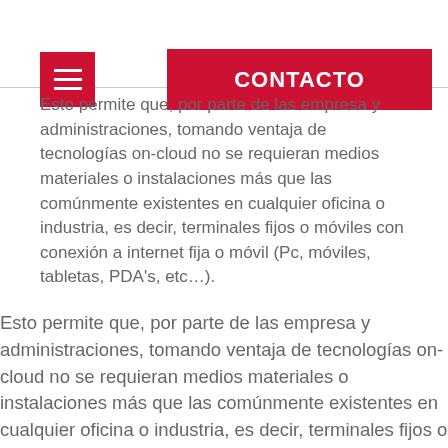Esto permite que, por parte de las empresa y administraciones, tomando ventaja de tecnologías on-cloud no se requieran medios materiales o instalaciones más que las comúnmente existentes en cualquier oficina o industria, es decir, terminales fijos o móviles con conexión a internet fija o móvil (Pc, móviles, tabletas, PDA's, etc…).
Esto permite que, por parte de las empresa y administraciones, tomando ventaja de tecnologías on-cloud no se requieran medios materiales o instalaciones más que las comúnmente existentes en cualquier oficina o industria, es decir, terminales fijos o móviles con conexión a internet fija o móvil (Pc, móviles, tabletas, PDA's, etc…).